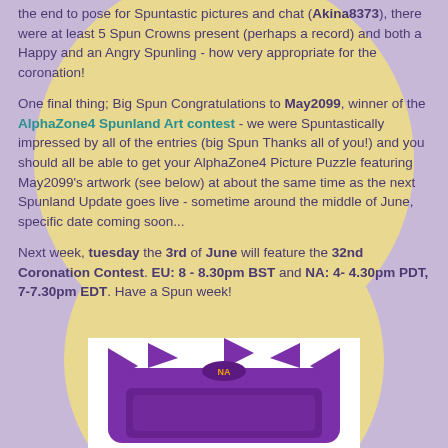the end to pose for Spuntastic pictures and chat (Akina8373), there were at least 5 Spun Crowns present (perhaps a record) and both a Happy and an Angry Spunling - how very appropriate for the coronation!
One final thing; Big Spun Congratulations to May2099, winner of the AlphaZone4 Spunland Art contest - we were Spuntastically impressed by all of the entries (big Spun Thanks all of you!) and you should all be able to get your AlphaZone4 Picture Puzzle featuring May2099's artwork (see below) at about the same time as the next Spunland Update goes live - sometime around the middle of June, specific date coming soon...
Next week, tuesday the 3rd of June will feature the 32nd Coronation Contest. EU: 8 - 8.30pm BST and NA: 4-4.30pm PDT, 7-7.30pm EDT. Have a Spun week!
[Figure (illustration): Purple crown-shaped character or frame with 'NA' text, partially visible at bottom of page]